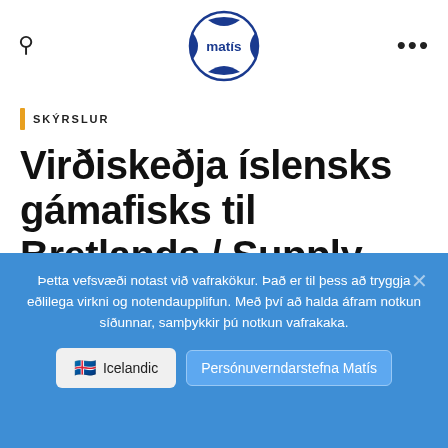[Figure (logo): Matís logo — circular badge with blue pentagon shapes and 'matís' text in blue]
SKÝRSLUR
Virðiskeðja íslensks gámafisks til Bretlands / Supply chain of
Þetta vefsvæði notast við vafrakökur. Það er til þess að tryggja eðlilega virkni og notendaupplifun. Með því að halda áfram notkun síðunnar, samþykkir þú notkun vafrakaka.
Icelandic
Persónuverndarstefna Matís